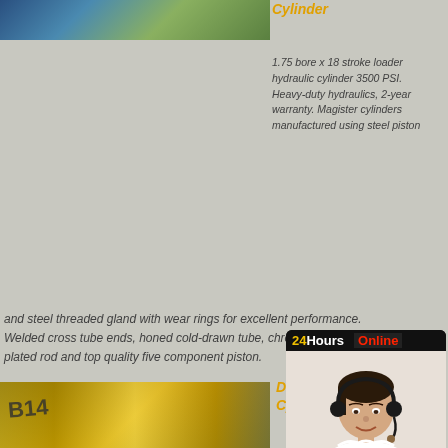[Figure (photo): Photo of loader/excavator hydraulic cylinder equipment outdoors]
Cylinder
1.75 bore x 18 stroke loader hydraulic cylinder 3500 PSI. Heavy-duty hydraulics, 2-year warranty. Magister cylinders manufactured using steel piston and steel threaded gland with wear rings for excellent performance. Welded cross tube ends, honed cold-drawn tube, chrome plated rod and top quality five component piston.
[Figure (photo): Photo of B14 excavator with yellow arm being operated by workers]
Double Cylinder
USA product. Hydraulic tie rod stroke 4 retract 58 7/4 in, npt port 1/2 in, max pressure 2500 psi, temp range -20 to 220 f, ductile iron piston material, high tensile strength piston
[Figure (other): 24Hours Online chat widget with customer service agent photo and Click To Chat button]